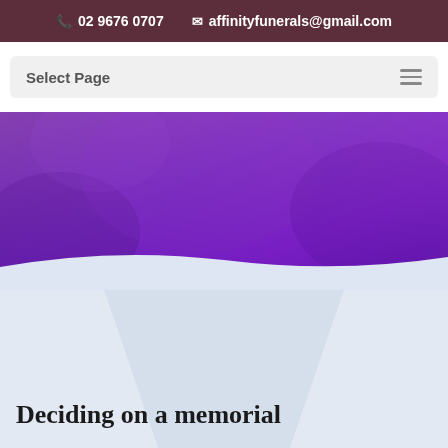02 9676 0707   affinityfunerals@gmail.com
Select Page
[Figure (photo): Purple/violet gradient hero banner image for a funeral services website, showing a lavender or purple floral/atmospheric background with a decorative curved wave shape at the bottom transitioning to a light blue-grey section below]
Deciding on a memorial
It can be tough deciding on a memorial for your